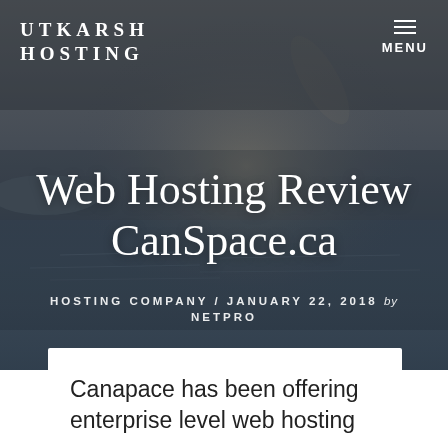UTKARSH HOSTING
Web Hosting Review CanSpace.ca
HOSTING COMPANY / JANUARY 22, 2018 by NETPRO
Canapace has been offering enterprise level web hosting